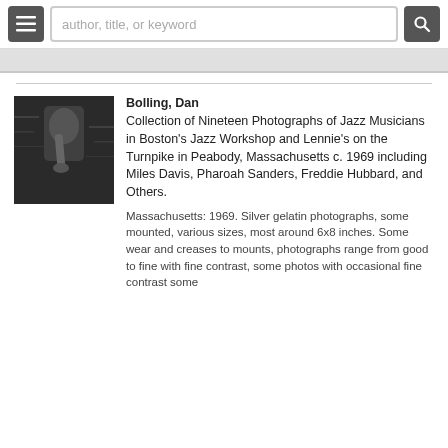author, title, or keyword
[Figure (photo): Black and white photograph of a jazz musician playing saxophone]
Bolling, Dan
Collection of Nineteen Photographs of Jazz Musicians in Boston's Jazz Workshop and Lennie's on the Turnpike in Peabody, Massachusetts c. 1969 including Miles Davis, Pharoah Sanders, Freddie Hubbard, and Others.
Massachusetts: 1969. Silver gelatin photographs, some mounted, various sizes, most around 6x8 inches. Some wear and creases to mounts, photographs range from good to fine with fine contrast, some photos with occasional fine contrast some